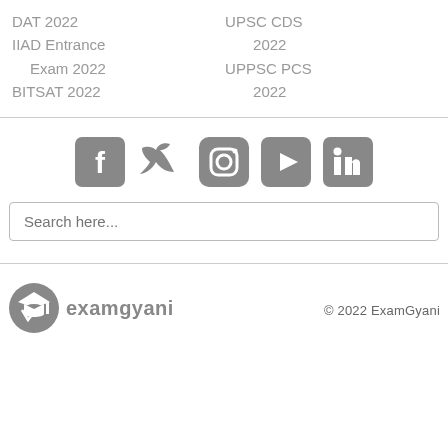DAT 2022
IIAD Entrance Exam 2022
BITSAT 2022
UPSC CDS 2022
UPPSC PCS 2022
[Figure (infographic): Social media icons: Facebook, Twitter, Instagram, YouTube, LinkedIn]
Search here...
[Figure (logo): ExamGyani logo with a mortar board icon and text 'examgyani']
© 2022 ExamGyani